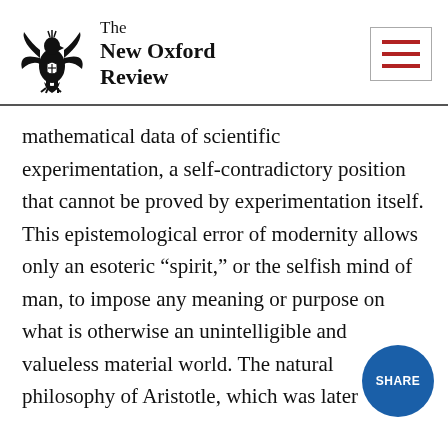The New Oxford Review
mathematical data of scientific experimentation, a self-contradictory position that cannot be proved by experimentation itself. This epistemological error of modernity allows only an esoteric “spirit,” or the selfish mind of man, to impose any meaning or purpose on what is otherwise an unintelligible and valueless material world. The natural philosophy of Aristotle, which was later